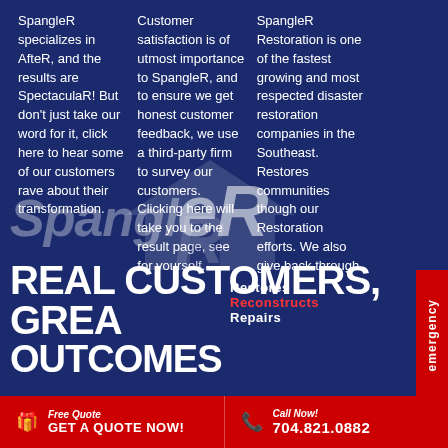SpangleR specializes in AfteR, and the results are SpectaculaR! But don't just take our word for it, click here to hear some of our customers rave about their transformation.
Customer satisfaction is of utmost importance to SpangleR, and to ensure we get honest customer feedback, we use a third-party firm to survey our customers. Clicking here will take you to the result page, see for yourself.
SpangleR Restoration is one of the fastest growing and most respected disaster restoration companies in the Southeast. Restores Reconstructs Repairs communities though our Restoration efforts. We also give back through
[Figure (logo): SpangleR company logo with house icon watermark in semi-transparent white]
Restores
Reconstructs
Repairs
REAL CUSTOMERS, GREAT OUTCOMES
emergency
Free Quote | GET A QUOTE NOW! | Call Now! | 704.821.0882